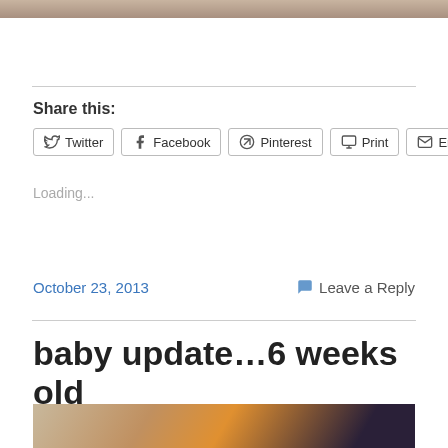[Figure (photo): Partial top edge of a photo, cropped]
Share this:
Twitter
Facebook
Pinterest
Print
Email
Loading...
October 23, 2013
Leave a Reply
baby update…6 weeks old
[Figure (photo): Partial bottom photo, blurred orange and dark tones, beginning of next blog post image]